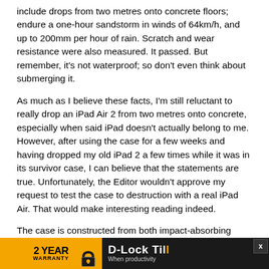include drops from two metres onto concrete floors; endure a one-hour sandstorm in winds of 64km/h, and up to 200mm per hour of rain. Scratch and wear resistance were also measured. It passed. But remember, it's not waterproof; so don't even think about submerging it.
As much as I believe these facts, I'm still reluctant to really drop an iPad Air 2 from two metres onto concrete, especially when said iPad doesn't actually belong to me. However, after using the case for a few weeks and having dropped my old iPad 2 a few times while it was in its survivor case, I can believe that the statements are true. Unfortunately, the Editor wouldn't approve my request to test the case to destruction with a real iPad Air. That would make interesting reading indeed.
The case is constructed from both impact-absorbing silicone and foam-lined polycarbonate, and with the front cover forms three layers of protection. The front cover has an anti-scratch screen shield that will protect the screen from hard-core scratches, like those from a set of keys. Yet it is also [X] enough t... [ad: D-Lock Til... When productivity] are using
[Figure (other): Advertisement banner at bottom of page: '2 Year Warranty' badge on amber/orange background with lock icon, followed by 'D-Lock Till' text in white/amber on dark background with 'When productivity' subtitle and close button]